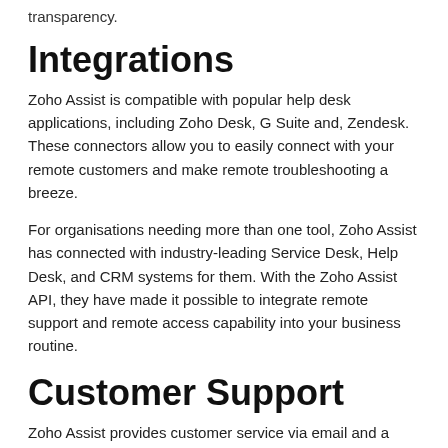transparency.
Integrations
Zoho Assist is compatible with popular help desk applications, including Zoho Desk, G Suite and, Zendesk. These connectors allow you to easily connect with your remote customers and make remote troubleshooting a breeze.
For organisations needing more than one tool, Zoho Assist has connected with industry-leading Service Desk, Help Desk, and CRM systems for them. With the Zoho Assist API, they have made it possible to integrate remote support and remote access capability into your business routine.
Customer Support
Zoho Assist provides customer service via email and a contact form. It also offers in-depth live training for remote